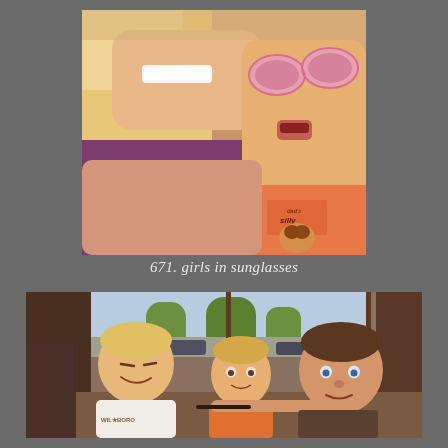[Figure (photo): A woman with blonde hair smiling next to a young child wearing pink sunglasses and an orange shirt, taken as a close-up selfie-style photo.]
671. girls in sunglasses
[Figure (photo): Three young boys sitting at a restaurant table near large windows. The boy on the right is holding something near his face like a fake mustache. Trees and parked cars visible outside.]